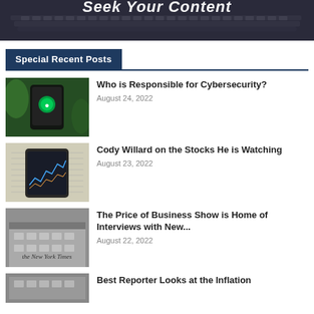[Figure (photo): Banner image with text 'Seek Your Content' over a dark keyboard background]
Special Recent Posts
[Figure (photo): Hand holding a smartphone with a green security/shield icon app, with plants in background]
Who is Responsible for Cybersecurity?
August 24, 2022
[Figure (photo): Smartphone showing stock chart/graph over financial newspaper]
Cody Willard on the Stocks He is Watching
August 23, 2022
[Figure (photo): New York Times building/sign]
The Price of Business Show is Home of Interviews with New...
August 22, 2022
[Figure (photo): Partial image of a building, partially cut off at bottom]
Best Reporter Looks at the Inflation